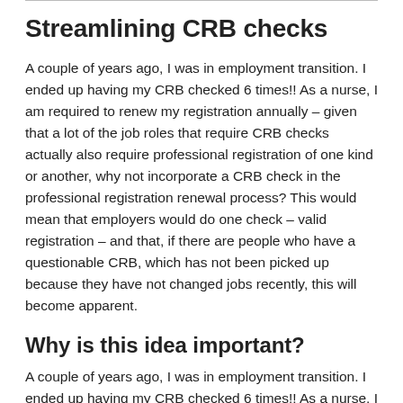Streamlining CRB checks
A couple of years ago, I was in employment transition. I ended up having my CRB checked 6 times!! As a nurse, I am required to renew my registration annually – given that a lot of the job roles that require CRB checks actually also require professional registration of one kind or another, why not incorporate a CRB check in the professional registration renewal process? This would mean that employers would do one check – valid registration – and that, if there are people who have a questionable CRB, which has not been picked up because they have not changed jobs recently, this will become apparent.
Why is this idea important?
A couple of years ago, I was in employment transition. I ended up having my CRB checked 6 times!! As a nurse, I